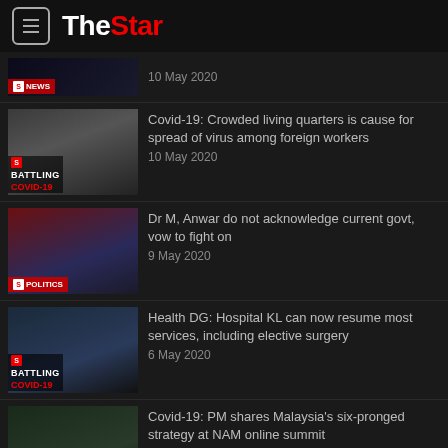The Star
10 May 2020
Covid-19: Crowded living quarters is cause for spread of virus among foreign workers
10 May 2020
Dr M, Anwar do not acknowledge current govt, vow to fight on
9 May 2020
Health DG: Hospital KL can now resume most services, including elective surgery
6 May 2020
Covid-19: PM shares Malaysia's six-pronged strategy at NAM online summit
5 May 2020